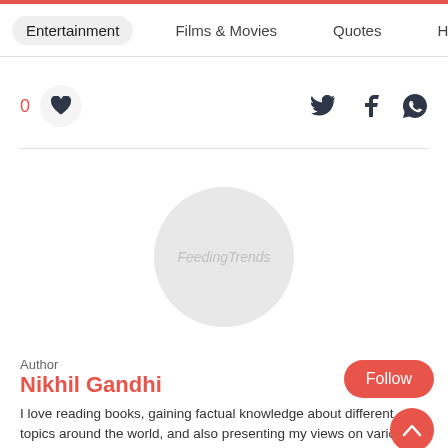Entertainment  Films & Movies  Quotes  Holl
[Figure (other): Like button with count 0, heart icon, and social share icons (Twitter, Facebook, WhatsApp)]
[Figure (photo): Circular avatar placeholder with FeedingTrends watermark text]
Author
Nikhil Gandhi
I love reading books, gaining factual knowledge about different topics around the world, and also presenting my views on various domains through writing content.